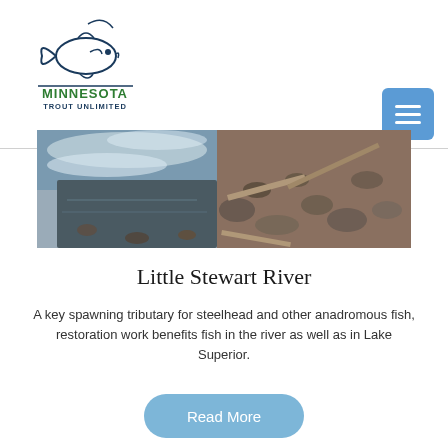[Figure (logo): Minnesota Trout Unlimited logo: outline drawing of a jumping trout fish above the text MINNESOTA in green bold and TROUT UNLIMITED in dark blue bold]
[Figure (photo): Photograph of the Little Stewart River showing rushing water over rocks and driftwood along a rocky shoreline]
Little Stewart River
A key spawning tributary for steelhead and other anadromous fish, restoration work benefits fish in the river as well as in Lake Superior.
Read More